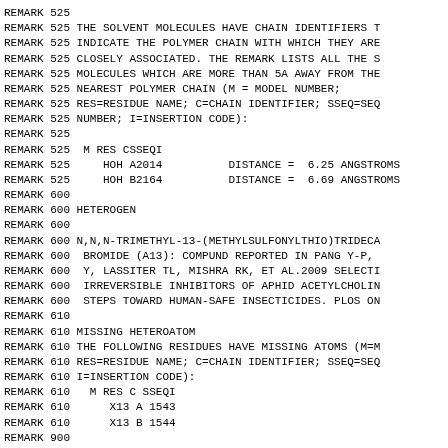REMARK 525
REMARK 525 THE SOLVENT MOLECULES HAVE CHAIN IDENTIFIERS T
REMARK 525 INDICATE THE POLYMER CHAIN WITH WHICH THEY ARE
REMARK 525 CLOSELY ASSOCIATED. THE REMARK LISTS ALL THE S
REMARK 525 MOLECULES WHICH ARE MORE THAN 5A AWAY FROM THE
REMARK 525 NEAREST POLYMER CHAIN (M = MODEL NUMBER;
REMARK 525 RES=RESIDUE NAME; C=CHAIN IDENTIFIER; SSEQ=SEQ
REMARK 525 NUMBER; I=INSERTION CODE):
REMARK 525
REMARK 525  M RES CSSEQI
REMARK 525     HOH A2014          DISTANCE =  6.25 ANGSTROMS
REMARK 525     HOH B2164          DISTANCE =  6.69 ANGSTROMS
REMARK 600
REMARK 600 HETEROGEN
REMARK 600
REMARK 600 N,N,N-TRIMETHYL-13-(METHYLSULFONYLTHIO)TRIDECA
REMARK 600  BROMIDE (A13): COMPUND REPORTED IN PANG Y-P,
REMARK 600  Y, LASSITER TL, MISHRA RK, ET AL.2009 SELECTI
REMARK 600  IRREVERSIBLE INHIBITORS OF APHID ACETYLCHOLIN
REMARK 600  STEPS TOWARD HUMAN-SAFE INSECTICIDES. PLOS ON
REMARK 610
REMARK 610 MISSING HETEROATOM
REMARK 610 THE FOLLOWING RESIDUES HAVE MISSING ATOMS (M=M
REMARK 610 RES=RESIDUE NAME; C=CHAIN IDENTIFIER; SSEQ=SEQ
REMARK 610 I=INSERTION CODE):
REMARK 610   M RES C SSEQI
REMARK 610      X13 A 1543
REMARK 610      X13 B 1544
REMARK 900
REMARK 900 RELATED ENTRIES